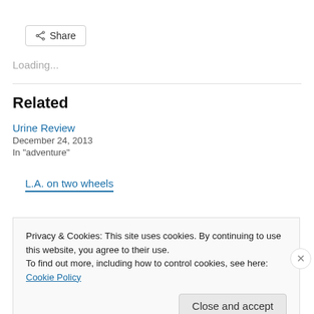[Figure (other): Share button with share icon]
Loading...
Related
Urine Review
December 24, 2013
In "adventure"
L.A. on two wheels
Privacy & Cookies: This site uses cookies. By continuing to use this website, you agree to their use.
To find out more, including how to control cookies, see here: Cookie Policy
Close and accept